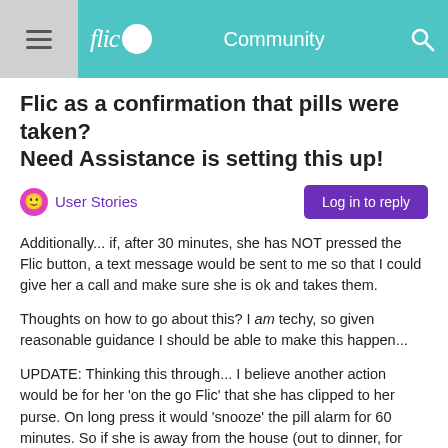flic Community
Flic as a confirmation that pills were taken? Need Assistance is setting this up!
User Stories
Log in to reply
Additionally... if, after 30 minutes, she has NOT pressed the Flic button, a text message would be sent to me so that I could give her a call and make sure she is ok and takes them.
Thoughts on how to go about this? I am techy, so given reasonable guidance I should be able to make this happen...
UPDATE: Thinking this through... I believe another action would be for her 'on the go Flic' that she has clipped to her purse. On long press it would 'snooze' the pill alarm for 60 minutes. So if she is away from the house (out to dinner, for example) it wouldn't continue to go off every 10 minutes but would still keep reminding until she is back home and takes the pills.